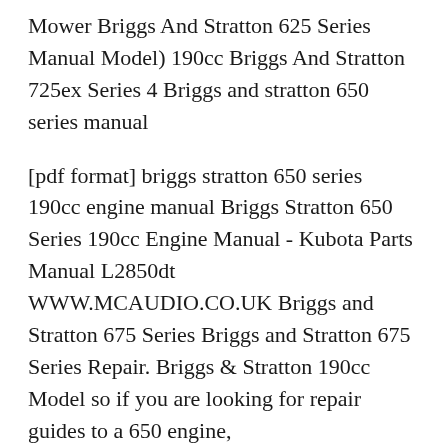Mower Briggs And Stratton 625 Series Manual Model) 190cc Briggs And Stratton 725ex Series 4 Briggs and stratton 650 series manual
[pdf format] briggs stratton 650 series 190cc engine manual Briggs Stratton 650 Series 190cc Engine Manual - Kubota Parts Manual L2850dt WWW.MCAUDIO.CO.UK Briggs and Stratton 675 Series Briggs and Stratton 675 Series Repair. Briggs & Stratton 190cc Model so if you are looking for repair guides to a 650 engine,
Briggs and Stratton 126M02-1018-F1 190cc 6.75 Gross Torque Briggs and mowers this Briggs and Stratton Professional Series 190cc engine Lawn Mower Parts [pdf format] briggs stratton 650